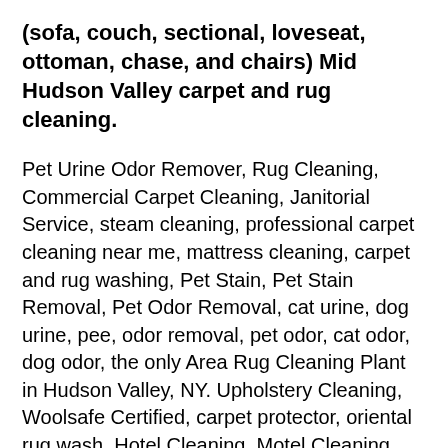(sofa, couch, sectional, loveseat, ottoman, chase, and chairs) Mid Hudson Valley carpet and rug cleaning.
Pet Urine Odor Remover, Rug Cleaning, Commercial Carpet Cleaning, Janitorial Service, steam cleaning, professional carpet cleaning near me, mattress cleaning, carpet and rug washing, Pet Stain, Pet Stain Removal, Pet Odor Removal, cat urine, dog urine, pee, odor removal, pet odor, cat odor, dog odor, the only Area Rug Cleaning Plant in Hudson Valley, NY. Upholstery Cleaning, Woolsafe Certified, carpet protector, oriental rug wash, Hotel Cleaning, Motel Cleaning, Restaurant Cleaning Service, Bathroom Cleaning Business, Commercial Kitchen Cleaning, carpet cleaners, deep cleaning, Floor Degreaser, Degreasing Service, hot water extraction, Hudson rug cleaning, hudson carpet cleaning, royalty carpet cleaning, start at $99, special $99, special